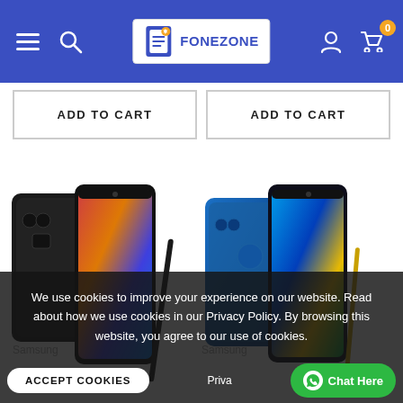Fone Zone - navigation header with hamburger menu, search, logo, user icon, and cart (0)
ADD TO CART
ADD TO CART
[Figure (photo): Two Samsung Galaxy Note 9 smartphones displayed side by side. Left: black/dark colorway showing front and back. Right: blue colorway showing front and back with S Pen.]
We use cookies to improve your experience on our website. Read about how we use cookies in our Privacy Policy. By browsing this website, you agree to our use of cookies.
ACCEPT COOKIES
Privacy
Chat Here
Samsung
Samsung